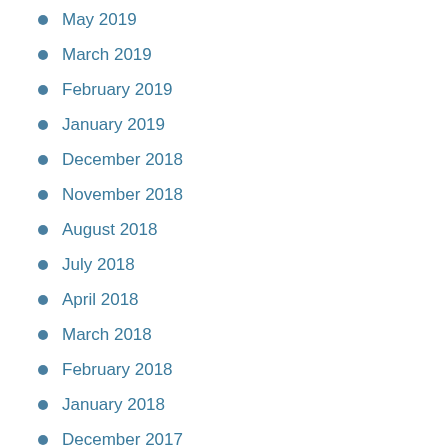May 2019
March 2019
February 2019
January 2019
December 2018
November 2018
August 2018
July 2018
April 2018
March 2018
February 2018
January 2018
December 2017
November 2017
October 2017
September 2017
August 2017
July 2017
June 2017
May 2017
April 2017
March 2017
February 2017
January 2017